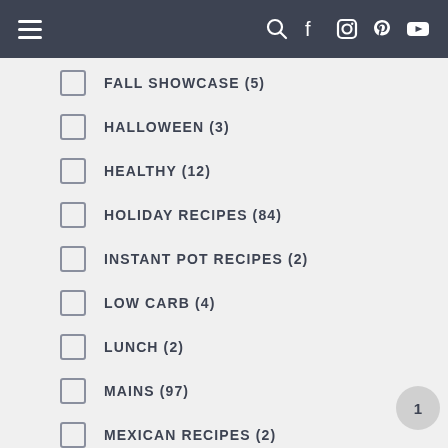Navigation bar with hamburger menu and social/search icons
FALL SHOWCASE (5)
HALLOWEEN (3)
HEALTHY (12)
HOLIDAY RECIPES (84)
INSTANT POT RECIPES (2)
LOW CARB (4)
LUNCH (2)
MAINS (97)
MEXICAN RECIPES (2)
PASTA SALADS (9)
PIE (2)
REQUEST (1)
SEAFOOD (18)
SEASONING & SPICES (1)